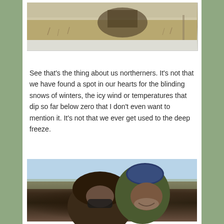[Figure (photo): Partial photo of a winter outdoor scene with snow on the ground and dry grass or brush, animal partially visible]
See that’s the thing about us northerners. It’s not that we have found a spot in our hearts for the blinding snows of winters, the icy wind or temperatures that dip so far below zero that I don’t even want to mention it. It’s not that we ever get used to the deep freeze.
[Figure (photo): Two people dressed in heavy winter gear including fur-trimmed parka and camouflage balaclava with ski goggles, smiling outdoors in cold weather]